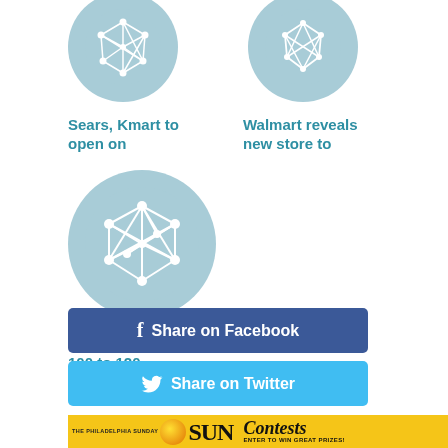[Figure (illustration): Light blue circle with white network/polygon icon - article thumbnail for Sears Kmart story]
[Figure (illustration): Light blue circle with white network/polygon icon - article thumbnail for Walmart story]
Sears, Kmart to open on
Walmart reveals new store to
[Figure (illustration): Light blue circle with white network/polygon icon - article thumbnail for Sears close story]
Sears to close 100 to 120
[Figure (other): Facebook Share button - dark blue button with f icon and text Share on Facebook]
[Figure (other): Twitter Share button - light blue button with bird icon and text Share on Twitter]
[Figure (other): The Philadelphia Sunday Sun advertisement - yellow banner with SUN logo and Contests text - ENTER TO WIN GREAT PRIZES!]